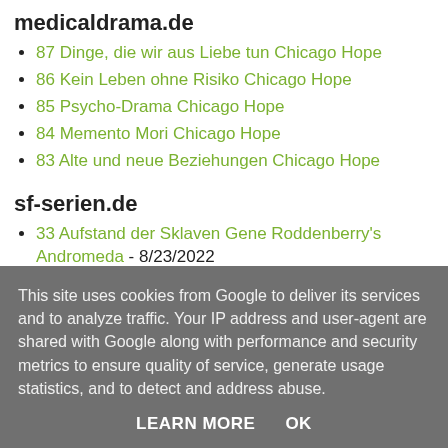medicaldrama.de
87 Dinge, die wir aus Liebe tun Chicago Hope
86 Kein Leben ohne Risiko Chicago Hope
85 Psycho-Drama Chicago Hope
84 Memento Mori Chicago Hope
83 Alte und neue Beziehungen Chicago Hope
sf-serien.de
33 Aufstand der Sklaven Gene Roddenberry's Andromeda - 8/23/2022
32 Königliche Hoheit Gene Roddenberry's Andromeda - 8/22/2022
31 Das Labyrinth Gene Roddenberry's
This site uses cookies from Google to deliver its services and to analyze traffic. Your IP address and user-agent are shared with Google along with performance and security metrics to ensure quality of service, generate usage statistics, and to detect and address abuse.
LEARN MORE    OK